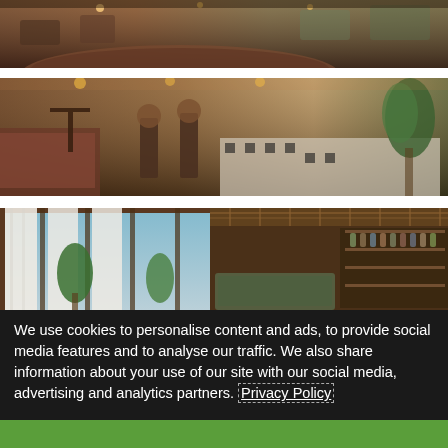[Figure (photo): Top portion of a restaurant interior with curved booth seating, warm lighting, and decorative ceiling elements in browns and reds.]
[Figure (photo): Restaurant interior with bar stools, leather booth seating, tall plants, and a patterned black and white floor runner. Warm ambient lighting with exposed ceilings.]
[Figure (photo): Restaurant/bar with sheer white curtains, large glass windows/skylight showing blue sky, lush tropical plants, and a bar area with decorative lattice ceiling.]
We use cookies to personalise content and ads, to provide social media features and to analyse our traffic. We also share information about your use of our site with our social media, advertising and analytics partners. Privacy Policy